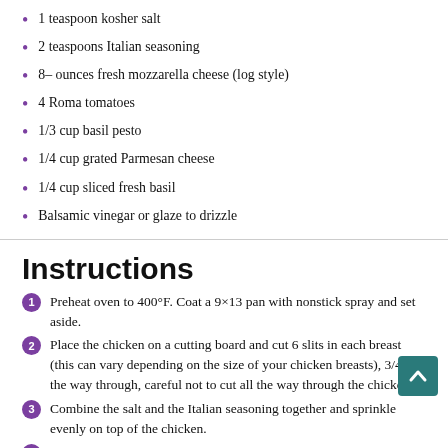1 teaspoon kosher salt
2 teaspoons Italian seasoning
8– ounces fresh mozzarella cheese (log style)
4 Roma tomatoes
1/3 cup basil pesto
1/4 cup grated Parmesan cheese
1/4 cup sliced fresh basil
Balsamic vinegar or glaze to drizzle
Instructions
Preheat oven to 400°F. Coat a 9×13 pan with nonstick spray and set aside.
Place the chicken on a cutting board and cut 6 slits in each breast (this can vary depending on the size of your chicken breasts), 3/4- of the way through, careful not to cut all the way through the chicken.
Combine the salt and the Italian seasoning together and sprinkle evenly on top of the chicken.
Slice the fresh mozzarella into 12 slices. Slice the 12 pieces in half, creating 24 half-moon shaped pieces.
Repeating the same process as the cheese, slice the tomatoes into 12 slices, and then again in half, creating 24 half-moon tomato slices.
Fill each slice in the chicken breasts with a small spoonful (about a teaspoon) of pesto, a slice of the cheese, and a slice of tomato.
Place the chicken into the prepared pan and sprinkle evenly with parmesan cheese.
Bake for 20 – 25 minutes, or until chicken reaches an internal temperature of